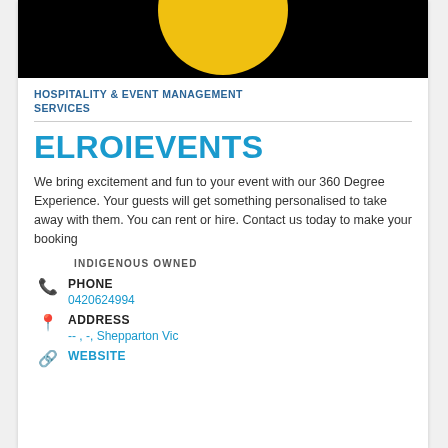[Figure (logo): Black background with large yellow circle (partially visible, bottom portion shown) — company logo for ElroiEvents]
HOSPITALITY & EVENT MANAGEMENT SERVICES
ELROIEVENTS
We bring excitement and fun to your event with our 360 Degree Experience. Your guests will get something personalised to take away with them. You can rent or hire. Contact us today to make your booking
INDIGENOUS OWNED
PHONE
0420624994
ADDRESS
-- , -, Shepparton Vic
WEBSITE